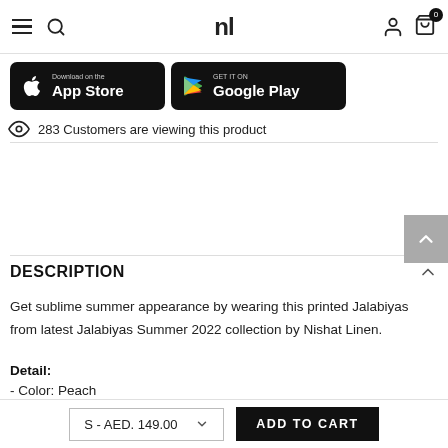[Figure (screenshot): Website header with hamburger menu, search icon, 'nl' logo, user icon, and shopping bag icon with badge showing 0]
[Figure (screenshot): App Store download button (black with Apple logo)]
[Figure (screenshot): Google Play download button (black with Play Store logo)]
283 Customers are viewing this product
DESCRIPTION
Get sublime summer appearance by wearing this printed Jalabiyas from latest Jalabiyas Summer 2022 collection by Nishat Linen.
Detail:
- Color: Peach
S - AED. 149.00
ADD TO CART